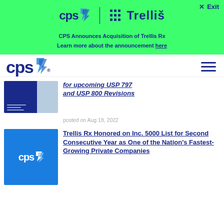[Figure (logo): CPS and Trellis logos on green banner with Exit button]
CPS Announces Acquisition of Trellis Rx
Learn more about the announcement here
[Figure (logo): CPS main logo in navigation bar with hamburger menu]
[Figure (photo): Article thumbnail image for USP 797 and USP 800 Revisions]
for upcoming USP 797 and USP 800 Revisions
posted on Aug 18, 2022
[Figure (logo): CPS logo on blue background thumbnail]
Trellis Rx Honored on Inc. 5000 List for Second Consecutive Year as One of the Nation's Fastest-Growing Private Companies